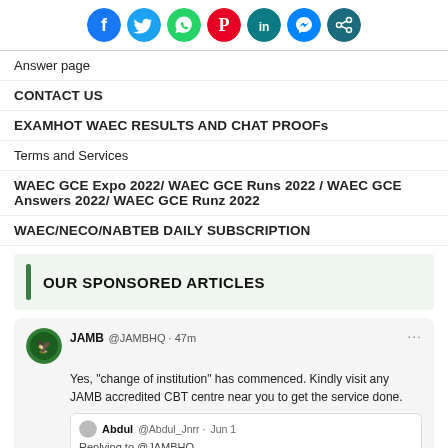[Figure (infographic): Row of social media sharing icons: Facebook (blue), Twitter (light blue), WhatsApp (green), Pinterest (red), LinkedIn (teal), Messenger (blue), Share (dark teal)]
Answer page
CONTACT US
EXAMHOT WAEC RESULTS AND CHAT PROOFs
Terms and Services
WAEC GCE Expo 2022/ WAEC GCE Runs 2022 / WAEC GCE Answers 2022/ WAEC GCE Runz 2022
WAEC/NECO/NABTEB DAILY SUBSCRIPTION
OUR SPONSORED ARTICLES
[Figure (screenshot): Tweet from JAMB @JAMBHQ 47m ago: Yes, 'change of institution' has commenced. Kindly visit any JAMB accredited CBT centre near you to get the service done. With a reply from Abdul @Abdul_Jnrr Jun 1 replying to @JAMBHQ.]